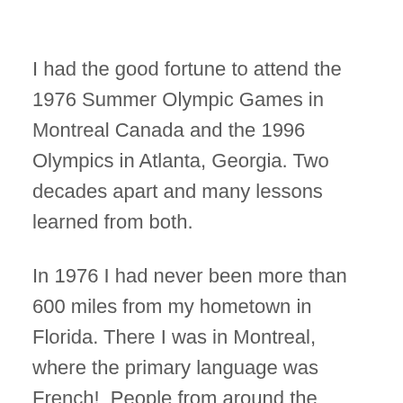I had the good fortune to attend the 1976 Summer Olympic Games in Montreal Canada and the 1996 Olympics in Atlanta, Georgia. Two decades apart and many lessons learned from both.
In 1976 I had never been more than 600 miles from my hometown in Florida. There I was in Montreal, where the primary language was French!  People from around the globe were gathered wearing their